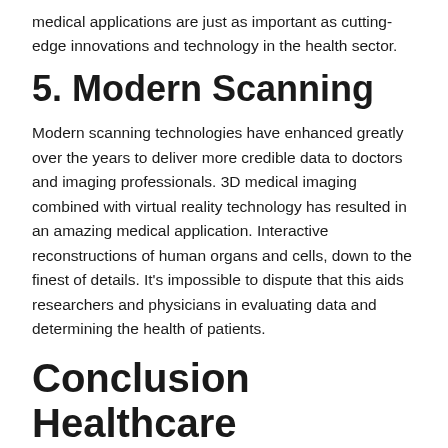medical applications are just as important as cutting-edge innovations and technology in the health sector.
5. Modern Scanning
Modern scanning technologies have enhanced greatly over the years to deliver more credible data to doctors and imaging professionals. 3D medical imaging combined with virtual reality technology has resulted in an amazing medical application. Interactive reconstructions of human organs and cells, down to the finest of details. It’s impossible to dispute that this aids researchers and physicians in evaluating data and determining the health of patients.
Conclusion Healthcare
In the health care sector, all those advanced and smart technologies are more beneficial. AI plays a big role in the health industry to provide accurate reports of patients.